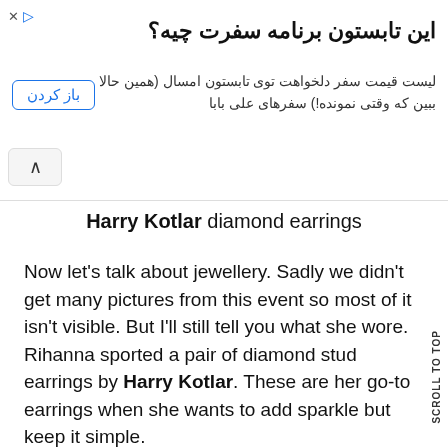[Figure (screenshot): Persian/Farsi ad banner with title 'این تابستون برنامه سفرت چیه؟' and body text about travel plans, with a 'باز کردن' button and collapse arrow button]
Harry Kotlar diamond earrings
Now let's talk about jewellery. Sadly we didn't get many pictures from this event so most of it isn't visible. But I'll still tell you what she wore. Rihanna sported a pair of diamond stud earrings by Harry Kotlar. These are her go-to earrings when she wants to add sparkle but keep it simple.

Her diamond chain necklace with cross pendant is by Neil Lane as well as a tennis bracelet and a white diamond and onyx bracelet.